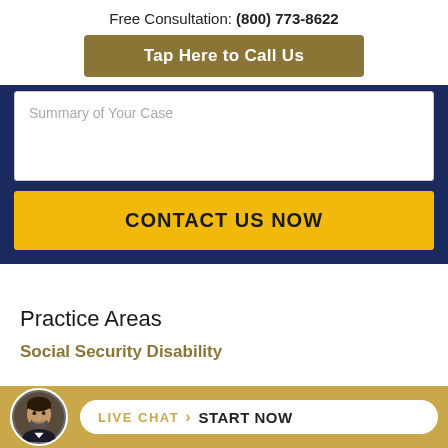Free Consultation: (800) 773-8622
Tap Here to Call Us
Summary of Your Case
CONTACT US NOW
Practice Areas
Social Security Disability
LIVE CHAT › START NOW